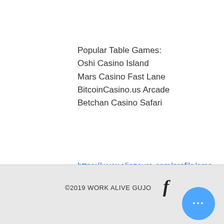Popular Table Games:
Oshi Casino Island
Mars Casino Fast Lane
BitcoinCasino.us Arcade
Betchan Casino Safari
https://www.eliazoura.com/profile/emoryzeitler3215875/profile
https://en.royaltyqualitycoffee.com/profile/tressiewyllie14485486/profile
https://www.ryderdance.com/profile/beulahevelo5396137/profile
https://www.jangsudang.com/profile/robertmilleson3683308/profile
©2019 WORK ALIVE GUJO